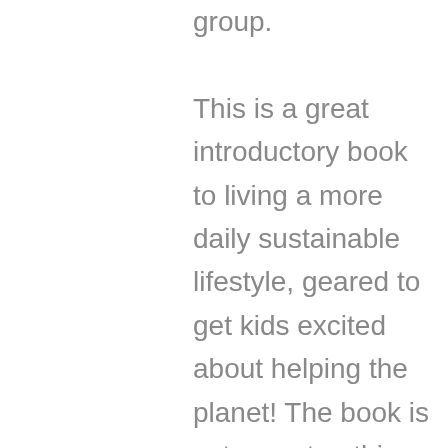group. This is a great introductory book to living a more daily sustainable lifestyle, geared to get kids excited about helping the planet! The book is setup as ten things